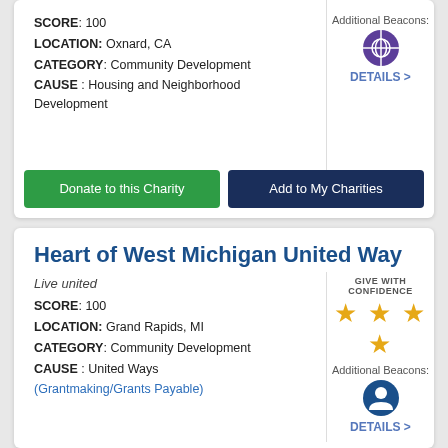SCORE: 100
LOCATION: Oxnard, CA
CATEGORY: Community Development
CAUSE : Housing and Neighborhood Development
[Figure (infographic): Additional Beacons section with purple wheel/network icon and DETAILS > link]
Donate to this Charity | Add to My Charities
Heart of West Michigan United Way
Live united
[Figure (infographic): GIVE WITH CONFIDENCE label with 4 gold stars, Additional Beacons with blue person icon and DETAILS > link]
SCORE: 100
LOCATION: Grand Rapids, MI
CATEGORY: Community Development
CAUSE : United Ways (Grantmaking/Grants Payable)